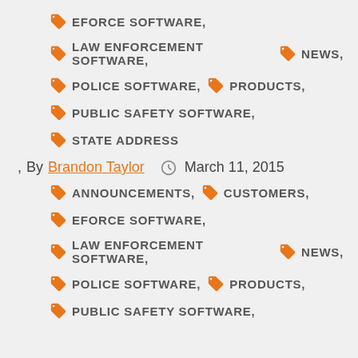EFORCE SOFTWARE,
LAW ENFORCEMENT SOFTWARE, NEWS,
POLICE SOFTWARE, PRODUCTS,
PUBLIC SAFETY SOFTWARE,
STATE ADDRESS
, By Brandon Taylor  March 11, 2015
ANNOUNCEMENTS, CUSTOMERS,
EFORCE SOFTWARE,
LAW ENFORCEMENT SOFTWARE, NEWS,
POLICE SOFTWARE, PRODUCTS,
PUBLIC SAFETY SOFTWARE,